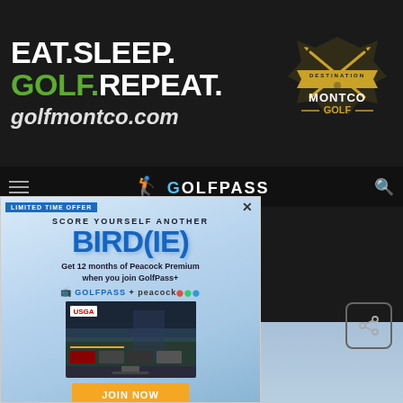[Figure (illustration): Top dark banner ad: EAT.SLEEP.GOLF.REPEAT. golfmontco.com with Destination Montco Golf crossed-clubs logo on the right]
[Figure (screenshot): GolfPass website navigation bar on dark background with hamburger menu, GOLFPASS title, and search icon]
[Figure (screenshot): GolfPass popup ad: LIMITED TIME OFFER - SCORE YOURSELF ANOTHER BIRD(IE) - Get 12 months of Peacock Premium when you join GolfPass+ - GOLFPASS + peacock logos - USGA TV screen image - JOIN NOW orange button - fine print]